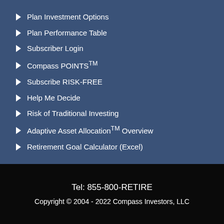Plan Investment Options
Plan Performance Table
Subscriber Login
Compass POINTS™
Subscribe RISK-FREE
Help Me Decide
Risk of Traditional Investing
Adaptive Asset Allocation™ Overview
Retirement Goal Calculator (Excel)
Tel: 855-800-RETIRE
Copyright © 2004 - 2022 Compass Investors, LLC